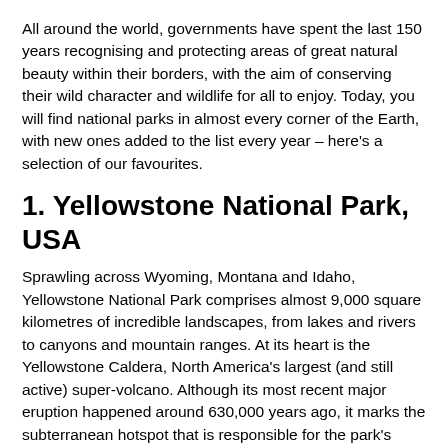All around the world, governments have spent the last 150 years recognising and protecting areas of great natural beauty within their borders, with the aim of conserving their wild character and wildlife for all to enjoy. Today, you will find national parks in almost every corner of the Earth, with new ones added to the list every year – here's a selection of our favourites.
1. Yellowstone National Park, USA
Sprawling across Wyoming, Montana and Idaho, Yellowstone National Park comprises almost 9,000 square kilometres of incredible landscapes, from lakes and rivers to canyons and mountain ranges. At its heart is the Yellowstone Caldera, North America's largest (and still active) super-volcano. Although its most recent major eruption happened around 630,000 years ago, it marks the subterranean hotspot that is responsible for the park's lively geothermal activity today. Old Faithful geyser is probably the most well-known of these features, along with at least another 465 geysers and hot springs that are active at any one time.
Vast mountain ranges, deep canyons and towering